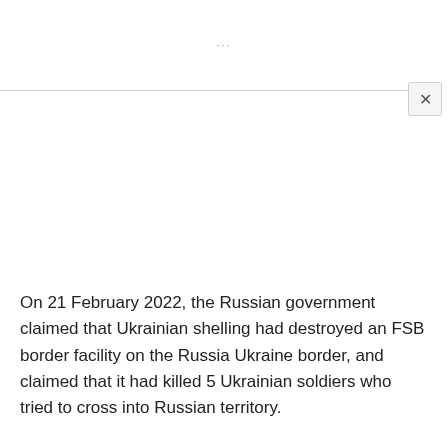[Figure (screenshot): A browser or app UI element showing a modal or popup overlay. A horizontal divider line separates the top white area from the content area below. An X close button appears at the top right corner of the modal panel. The main content area is mostly white/blank.]
On 21 February 2022, the Russian government claimed that Ukrainian shelling had destroyed an FSB border facility on the Russia Ukraine border, and claimed that it had killed 5 Ukrainian soldiers who tried to cross into Russian territory.